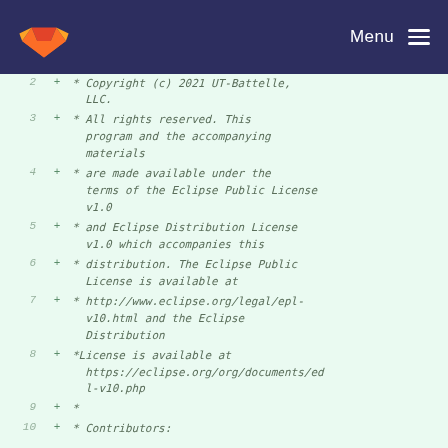Menu
2 + * Copyright (c) 2021 UT-Battelle, LLC.
3 + * All rights reserved. This program and the accompanying materials
4 + * are made available under the terms of the Eclipse Public License v1.0
5 + * and Eclipse Distribution License v1.0 which accompanies this
6 + * distribution. The Eclipse Public License is available at
7 + * http://www.eclipse.org/legal/epl-v10.html and the Eclipse Distribution
8 + *License is available at https://eclipse.org/org/documents/edl-v10.php
9 + *
10 + * Contributors: